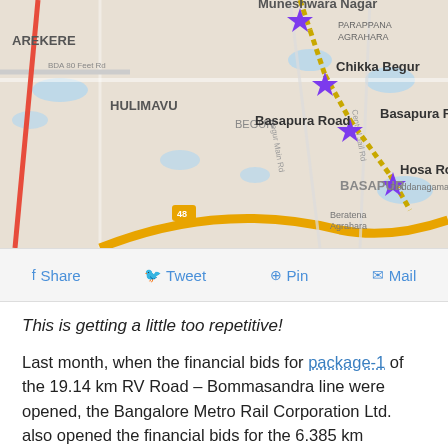[Figure (map): Street map showing metro rail route through Bangalore area with labeled stations: Muneshwara Nagar, Chikka Begur, Basapura Road, Hosa Road, and localities AREKERE, HULIMAVU, BEGUR, PARAPPANA AGRAHARA, BASAPUR, Beratena Agrahara, Doddanagamangala. Purple star markers on a dotted gold route line. Red diagonal road line on left. Roads labeled include BDA 80 Feet Rd, Begur Main Rd, Central Jail Rd.]
Share   Tweet   Pin   Mail
This is getting a little too repetitive!
Last month, when the financial bids for package-1 of the 19.14 km RV Road – Bommasandra line were opened, the Bangalore Metro Rail Corporation Ltd. also opened the financial bids for the 6.385 km package-2 to reveal that the Italian-Thai Development – ITD Cementation India (ITD-ITD Cem) JV was once again the lowest bidder vying to construct a portion